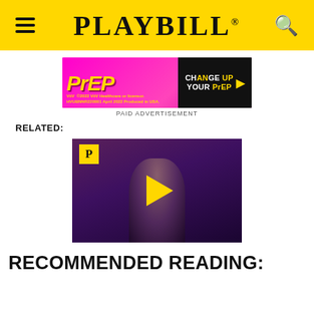PLAYBILL
[Figure (other): Paid advertisement banner for PrEP medication — pink/magenta background with 'PrEP' in yellow text and 'CHANGE UP YOUR PrEP' in black/yellow on right side. ViiV Healthcare copyright notice. Text: ©2022 ViiV Healthcare or licensor. HVUBNNR220001 April 2022 Produced in USA.]
PAID ADVERTISEMENT
RELATED:
[Figure (screenshot): Video thumbnail showing a woman performing on stage against a purple background, holding a book near a microphone. Playbill yellow P logo in top left corner. Yellow play button triangle in center.]
RECOMMENDED READING: